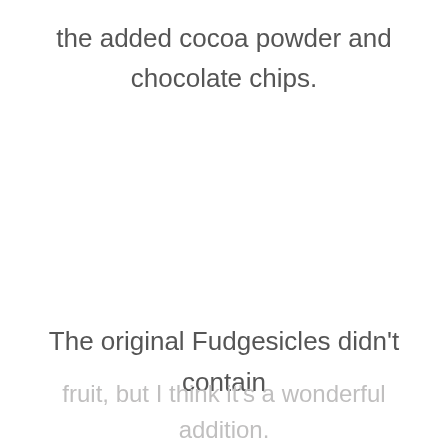the added cocoa powder and chocolate chips.
The original Fudgesicles didn't contain
fruit, but I think it's a wonderful addition.